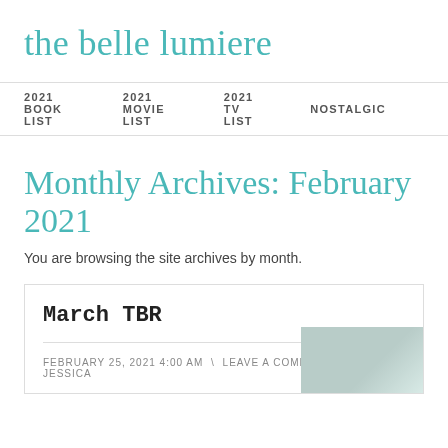the belle lumiere
2021 BOOK LIST  \ 2021 MOVIE LIST  \ 2021 TV LIST  \ NOSTALGIC
Monthly Archives: February 2021
You are browsing the site archives by month.
March TBR
FEBRUARY 25, 2021 4:00 AM  \  LEAVE A COMMENT  \  BY JESSICA
[Figure (photo): Small thumbnail image, appears to be a light-colored book cover or similar image]